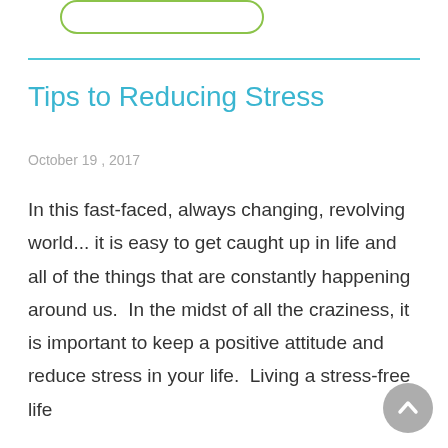[Figure (other): Rounded rectangle button outline in olive/green color at top of page]
Tips to Reducing Stress
October 19 , 2017
In this fast-faced, always changing, revolving world... it is easy to get caught up in life and all of the things that are constantly happening around us.  In the midst of all the craziness, it is important to keep a positive attitude and reduce stress in your life.  Living a stress-free life